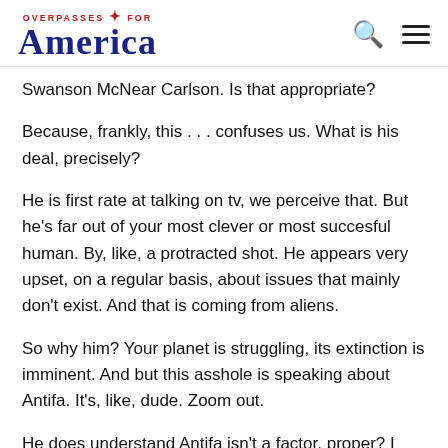Overpasses for America
Swanson McNear Carlson. Is that appropriate?
Because, frankly, this . . . confuses us. What is his deal, precisely?
He is first rate at talking on tv, we perceive that. But he's far out of your most clever or most succesful human. By, like, a protracted shot. He appears very upset, on a regular basis, about issues that mainly don't exist. And that is coming from aliens.
So why him? Your planet is struggling, its extinction is imminent. And but this asshole is speaking about Antifa. It's, like, dude. Zoom out.
He does understand Antifa isn't a factor, proper? I imply,